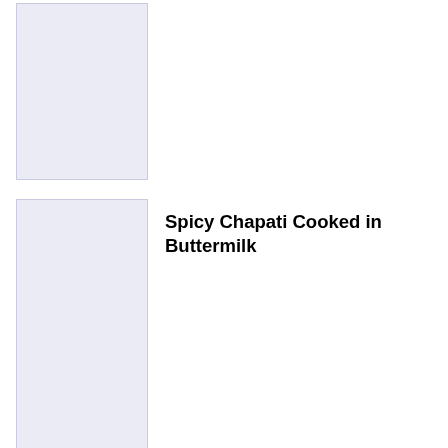[Figure (photo): Placeholder image box (light lavender background) for a food photo, top position]
[Figure (photo): Placeholder image box (light lavender background) for a food photo, bottom position]
Spicy Chapati Cooked in Buttermilk